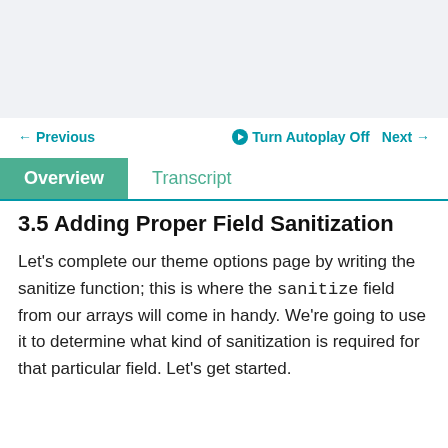[Figure (screenshot): Gray placeholder area representing a video or media player]
← Previous    ▶ Turn Autoplay Off    Next →
Overview    Transcript
3.5 Adding Proper Field Sanitization
Let's complete our theme options page by writing the sanitize function; this is where the sanitize field from our arrays will come in handy. We're going to use it to determine what kind of sanitization is required for that particular field. Let's get started.